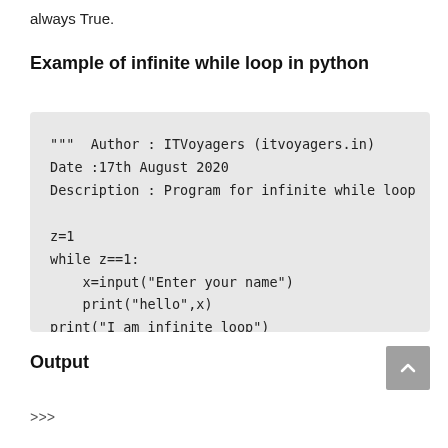always True.
Example of infinite while loop in python
[Figure (screenshot): Code block with light gray background showing Python code: triple-quote comment with Author, Date, Description; then z=1, while z==1: loop with x=input and print statements, and print outside loop.]
Output
>>>